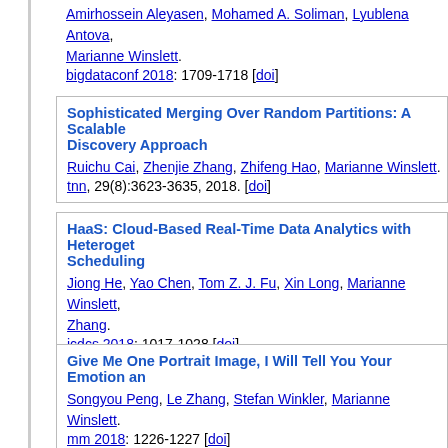Amirhossein Aleyasen, Mohamed A. Soliman, Lyublena Antova, Marianne Winslett. bigdataconf 2018: 1709-1718 [doi]
Sophisticated Merging Over Random Partitions: A Scalable Discovery Approach. Ruichu Cai, Zhenjie Zhang, Zhifeng Hao, Marianne Winslett. tnn, 29(8):3623-3635, 2018. [doi]
HaaS: Cloud-Based Real-Time Data Analytics with Heteroge... Scheduling. Jiong He, Yao Chen, Tom Z. J. Fu, Xin Long, Marianne Winslett, Zhang. icdcs 2018: 1017-1028 [doi]
Give Me One Portrait Image, I Will Tell You Your Emotion an... Songyou Peng, Le Zhang, Stefan Winkler, Marianne Winslett. mm 2018: 1226-1227 [doi]